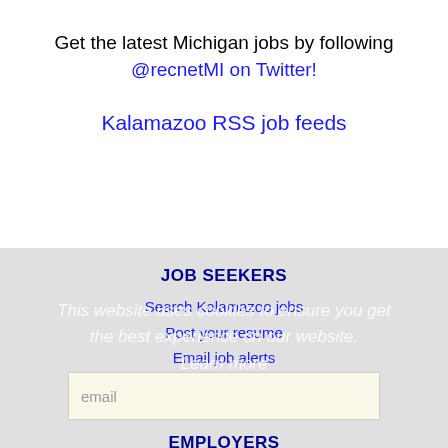Get the latest Michigan jobs by following @recnetMI on Twitter!
Kalamazoo RSS job feeds
JOB SEEKERS
Search Kalamazoo jobs
Post your resume
Email job alerts
Register / Log in
This website uses cookies to ensure you get the best experience on our website. Learn more
email
EMPLOYERS